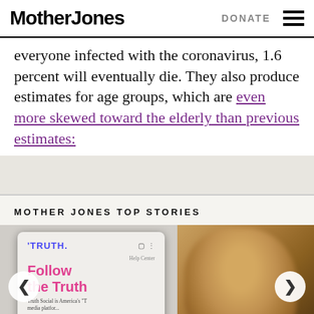Mother Jones | DONATE
everyone infected with the coronavirus, 1.6 percent will eventually die. They also produce estimates for age groups, which are even more skewed toward the elderly than previous estimates:
MOTHER JONES TOP STORIES
[Figure (photo): Carousel image showing a smartphone displaying Truth Social app with 'TRUTH.' logo and 'Follow the Truth' tagline, alongside a blurred image of a person's face (Donald Trump). Navigation arrows on left and right.]